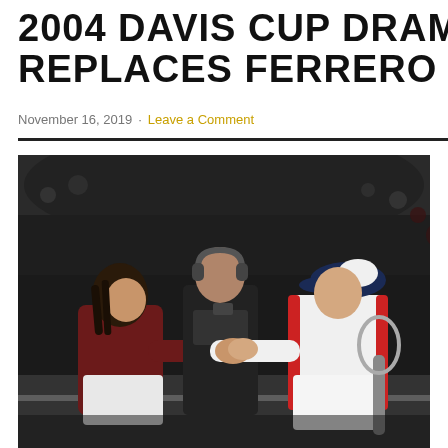2004 DAVIS CUP DRAMA: NAD REPLACES FERRERO
November 16, 2019 · Leave a Comment
[Figure (photo): Two tennis players shaking hands over the net after a Davis Cup match. The player on the left wears a dark red/maroon top and white shorts with long hair. The player on the right wears a white and red tennis shirt and a navy and white cap, holding a tennis racket. A cameraman with headphones stands between them in the background.]